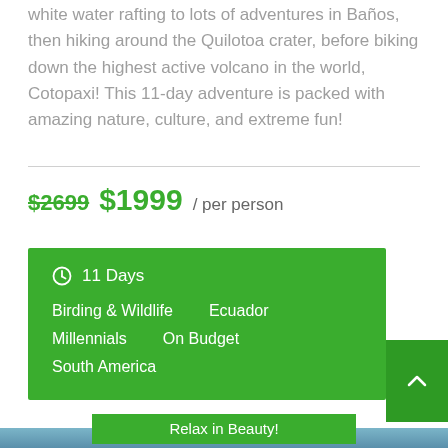white water rafting to lots of adventures in Baños, then hiking around the Quilotoa crater, before biking down the highest active volcano in the world, Cotopaxi! This 11-day adventure is packed with amazing nature, culture, and extreme fun!
$2699  $1999 / per person
11 Days
Birding & Wildlife    Ecuador
Millennials    On Budget
South America
Relax in Beauty!